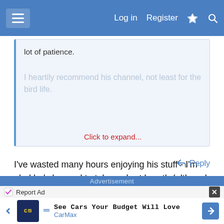Log in  Register
lot of patience.

I heartily recommend his channel, not least for the bird life.
Click to expand...
I've wasted many hours enjoying his stuff - I'm glad he's learned to take a short breath (although you can see he's making an effort to do it) between "Gorham" and "Maine"! Peter Follansbee's blog is another place where birdlife gets an airing, besides excellent woodwork.
↩ Reply
Advertisement
Report Ad
See Cars Your Budget Will Love
CarMax